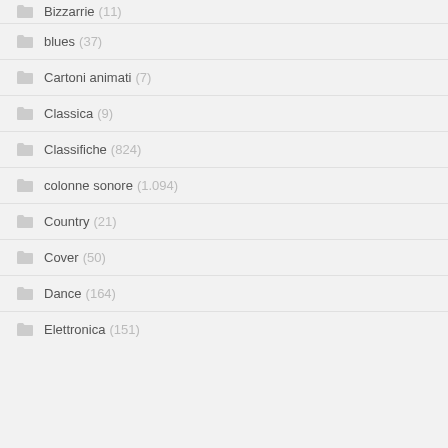Bizzarrie (11)
blues (37)
Cartoni animati (7)
Classica (9)
Classifiche (824)
colonne sonore (1.094)
Country (21)
Cover (50)
Dance (164)
Elettronica (151)